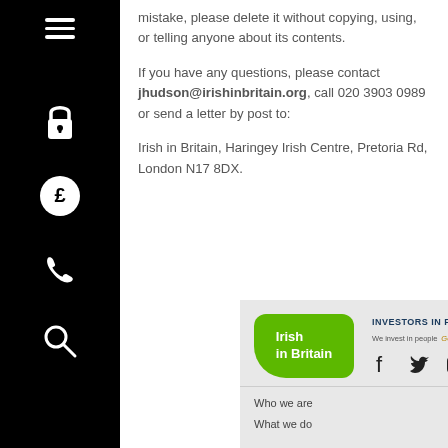[Figure (other): Black sidebar with hamburger menu icon, padlock icon, pound sign icon, phone icon, and search icon]
mistake, please delete it without copying, using, or telling anyone about its contents.
If you have any questions, please contact jhudson@irishinbritain.org, call 020 3903 0989 or send a letter by post to:
Irish in Britain, Haringey Irish Centre, Pretoria Rd, London N17 8DX.
[Figure (logo): Irish in Britain green logo with speech bubble shape]
[Figure (logo): Investors in People - We invest in people Gold logo, with Facebook, Twitter, and YouTube social icons]
Who we are
What's on
What we do
Members Area